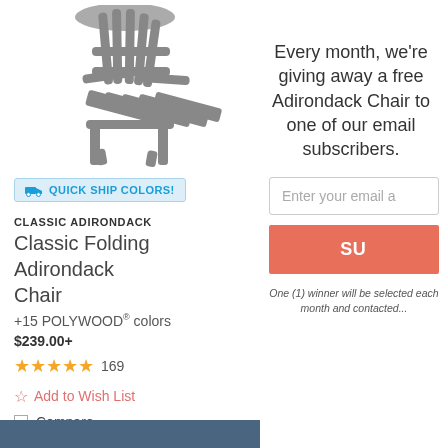[Figure (photo): Gray Adirondack folding chair product photo on white background]
QUICK SHIP COLORS!
CLASSIC ADIRONDACK
Classic Folding Adirondack Chair
+15 POLYWOOD® colors
$239.00+
★★★★★ 169
Add to Wish List
Compare
Every month, we're giving away a free Adirondack Chair to one of our email subscribers.
Enter your email a
S
One (1) winner will be selected each month and contacted...